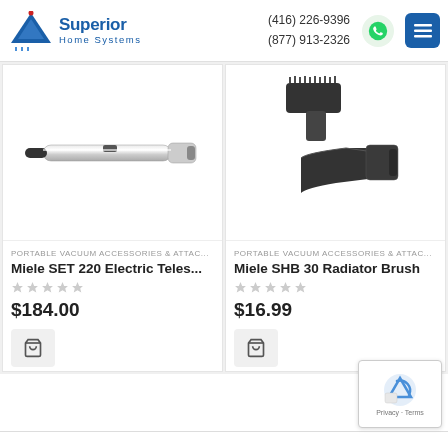Superior Home Systems | (416) 226-9396 | (877) 913-2326
[Figure (photo): Miele SET 220 Electric Telescopic wand/tube accessory, silver metal tube with black end connectors]
PORTABLE VACUUM ACCESSORIES & ATTAC...
Miele SET 220 Electric Teles...
$184.00
[Figure (photo): Miele SHB 30 Radiator Brush, black brush head with bristles and flat crevice nozzle attachment]
PORTABLE VACUUM ACCESSORIES & ATTAC...
Miele SHB 30 Radiator Brush
$16.99